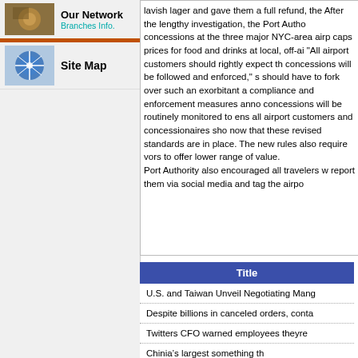Our Network — Branches Info.
Site Map
lavish lager and gave them a full refund, the After the lengthy investigation, the Port Authority concessions at the three major NYC-area airports caps prices for food and drinks at local, off-airport "All airport customers should rightly expect the concessions will be followed and enforced," should have to fork over such an exorbitant amount compliance and enforcement measures announced. concessions will be routinely monitored to ensure all airport customers and concessionaires should now that these revised standards are in place. The new rules also require vors to offer lower range of value. Port Authority also encouraged all travelers who report them via social media and tag the airports
| Title |
| --- |
| U.S. and Taiwan Unveil Negotiating Mang... |
| Despite billions in canceled orders, conta... |
| Twitters CFO warned employees theyre... |
| Chinia's largest... |